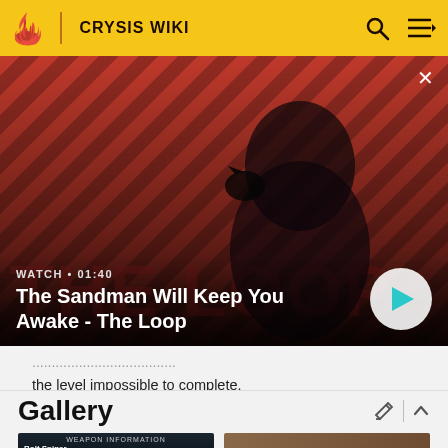CRYSIS WIKI
[Figure (screenshot): Video banner showing 'The Sandman Will Keep You Awake - The Loop' with play button. Shows WATCH • 01:40 label. Dark figure with a crow on shoulder against red striped background.]
the level impossible to complete.
Gallery
[Figure (screenshot): Thumbnail showing Bolt Sniper weapon information screen]
[Figure (photo): Second gallery thumbnail, brownish tones]